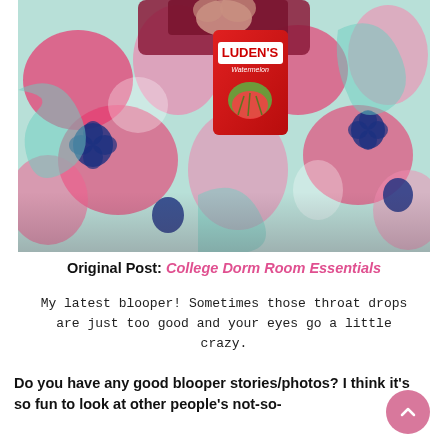[Figure (photo): Photo of a person in a dark red top wrapped in a colorful pink, teal, and navy floral blanket, holding a red package of Luden's Watermelon throat drops]
Original Post: College Dorm Room Essentials
My latest blooper! Sometimes those throat drops are just too good and your eyes go a little crazy.
Do you have any good blooper stories/photos? I think it's so fun to look at other people's not-so-perfect moments like these! About the next post...